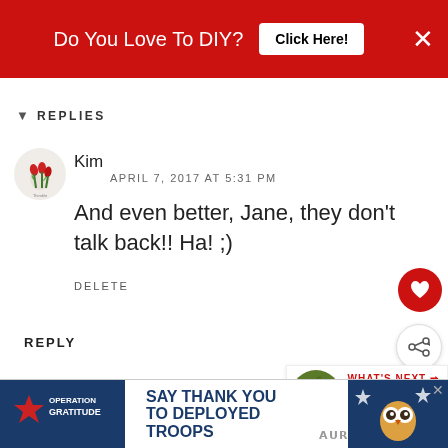[Figure (screenshot): Red advertisement banner at top: 'Do You Love To DIY? Click Here!' with X close button]
▾  REPLIES
[Figure (logo): Small circular avatar with red flower/tulip illustration — Kim's profile picture]
Kim
APRIL 7, 2017 AT 5:31 PM
And even better, Jane, they don't talk back!! Ha! ;)
DELETE
REPLY
[Figure (infographic): WHAT'S NEXT → Painting Rocks! widget with green apple image]
[Figure (logo): Orange circle with Blogger 'B' icon — Unknown commenter avatar]
Unknown
APRIL 5, 2017 AT 7:29 AM
[Figure (screenshot): Bottom advertisement banner: Operation Gratitude — SAY THANK YOU TO DEPLOYED TROOPS]